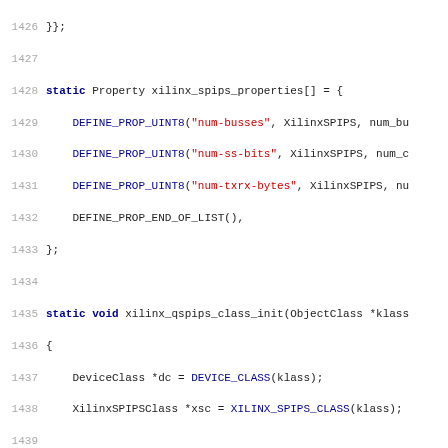Source code listing, lines 1426-1458, C language code for Xilinx SPIPS QEMU device model